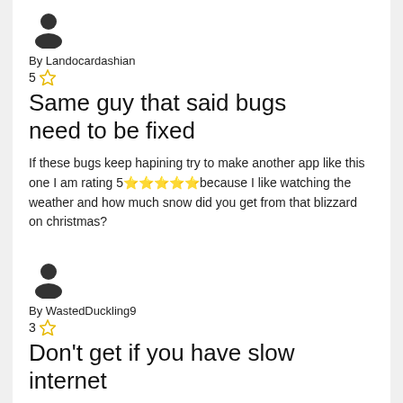[Figure (illustration): User avatar icon (silhouette of a person)]
By Landocardashian
5 ☆
Same guy that said bugs need to be fixed
If these bugs keep hapining try to make another app like this one I am rating 5⭐⭐⭐⭐⭐because I like watching the weather and how much snow did you get from that blizzard on christmas?
[Figure (illustration): User avatar icon (silhouette of a person)]
By WastedDuckling9
3 ☆
Don't get if you have slow internet